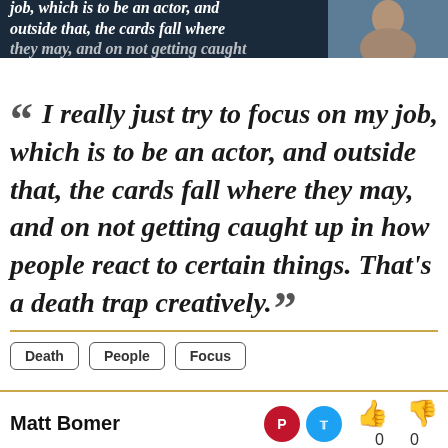[Figure (photo): Banner image at top: dark navy background with italic bold white serif text partially visible reading 'job, which is to be an actor, and outside that, the cards fall where they may, and on not getting caught' alongside a photo of a man (Matt Bomer) on the right side.]
“ I really just try to focus on my job, which is to be an actor, and outside that, the cards fall where they may, and on not getting caught up in how people react to certain things. That’s a death trap creatively. ”
Death
People
Focus
Matt Bomer